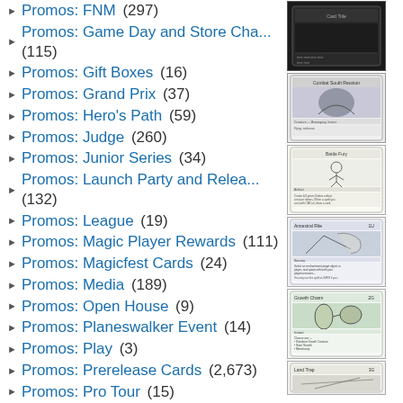Promos: FNM (297)
Promos: Game Day and Store Cha... (115)
Promos: Gift Boxes (16)
Promos: Grand Prix (37)
Promos: Hero's Path (59)
Promos: Judge (260)
Promos: Junior Series (34)
Promos: Launch Party and Relea... (132)
Promos: League (19)
Promos: Magic Player Rewards (111)
Promos: Magicfest Cards (24)
Promos: Media (189)
Promos: Open House (9)
Promos: Planeswalker Event (14)
Promos: Play (3)
Promos: Prerelease Cards (2,673)
Promos: Pro Tour (15)
Promos: Special Occasion (35)
Promos: Standard Showdown (15)
Promos: Tarkir Dragonfury (4)
Promos: Ugin's Fate (26)
Promos: Unique and Miscellaneous (109)
Promos: WMCQ (11)
Promos: WPN and Gateway (110)
Promotional Cards (2,068)
[Figure (illustration): Magic card thumbnail 1 - dark card with text]
[Figure (illustration): Magic card thumbnail 2 - Combat South Reunion card]
[Figure (illustration): Magic card thumbnail 3 - sketch art card]
[Figure (illustration): Magic card thumbnail 4 - Ancestral Rite card]
[Figure (illustration): Magic card thumbnail 5 - Growth Charm card]
[Figure (illustration): Magic card thumbnail 6 - partial card at bottom]